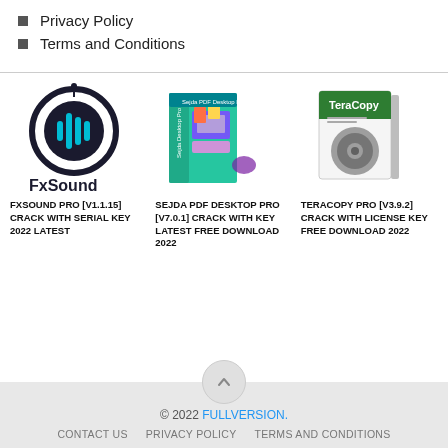Privacy Policy
Terms and Conditions
[Figure (illustration): FxSound Pro software logo with circular waveform design]
FXSOUND PRO [V1.1.15] CRACK WITH SERIAL KEY 2022 LATEST
[Figure (illustration): Sejda PDF Desktop Pro software box packaging]
SEJDA PDF DESKTOP PRO [V7.0.1] CRACK WITH KEY LATEST FREE DOWNLOAD 2022
[Figure (illustration): TeraCopy Pro software box packaging]
TERACOPY PRO [V3.9.2] CRACK WITH LICENSE KEY FREE DOWNLOAD 2022
© 2022 FULLVERSION.
CONTACT US   PRIVACY POLICY   TERMS AND CONDITIONS